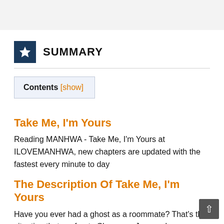SUMMARY
Contents [show]
Take Me, I'm Yours
Reading MANHWA - Take Me, I'm Yours at ILOVEMANHWA, new chapters are updated with the fastest every minute to day
The Description Of Take Me, I'm Yours
Have you ever had a ghost as a roommate? That's the situation that confronts Chanyang Jeong when a